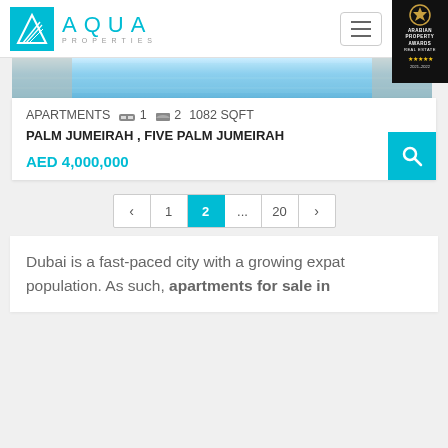AQUA PROPERTIES
[Figure (photo): Pool/swimming area interior photo strip showing reflective water and light]
APARTMENTS  1  2  1082 SQFT
PALM JUMEIRAH , FIVE PALM JUMEIRAH
AED 4,000,000
‹  1  2  ...  20  ›
Dubai is a fast-paced city with a growing expat population. As such, apartments for sale in